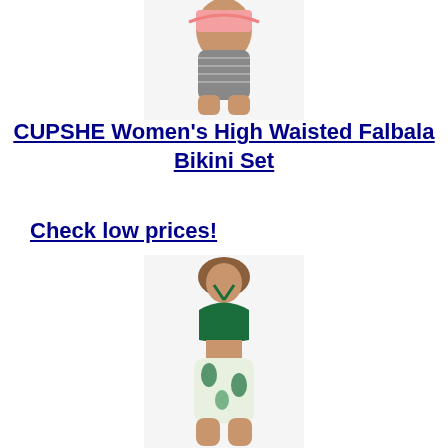[Figure (photo): Top portion of a woman wearing a pink ruffle top and striped gray high-waisted bikini bottom]
CUPSHE Women's High Waisted Falbala Bikini Set
Check low prices!
[Figure (photo): Woman wearing a dark green halter bikini top and floral/tropical print high-waisted bikini bottom]